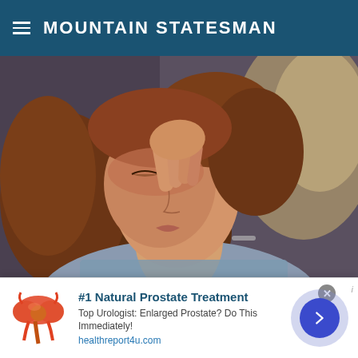MOUNTAIN STATESMAN
[Figure (photo): Young woman with reddish-brown wavy hair, eyes closed, pressing her fingers to the bridge of her nose as if stressed or with a headache. Wearing a floral top. Blurred background.]
Brainberries
7 Reasons Why You Don't Get Your Work Done On
[Figure (illustration): Advertisement banner: #1 Natural Prostate Treatment. Top Urologist: Enlarged Prostate? Do This Immediately! healthreport4u.com. Shows a medical illustration of a prostate and a navigation arrow button.]